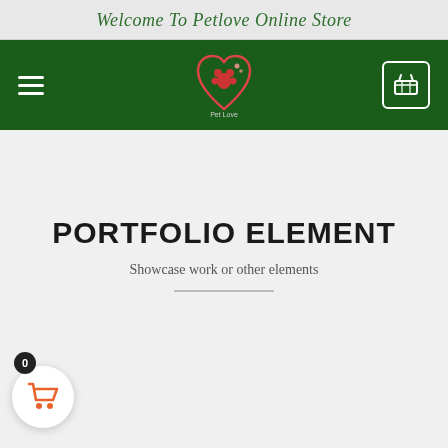Welcome To Petlove Online Store
[Figure (screenshot): Petlove Online Store navigation bar with dark green background, hamburger menu on the left, pet logo in the center, and shopping basket icon on the right]
PORTFOLIO ELEMENT
Showcase work or other elements
[Figure (other): Floating shopping cart button with badge showing 0, white circle with orange cart icon at bottom left]